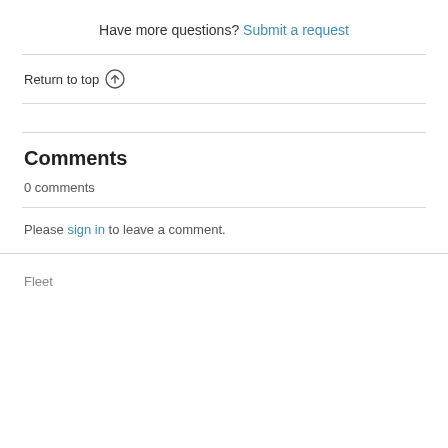Have more questions? Submit a request
Return to top ↑
Comments
0 comments
Please sign in to leave a comment.
Fleet